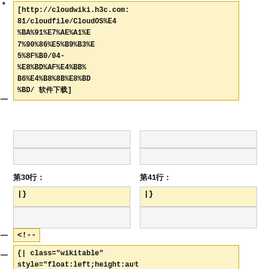*
[http://cloudwiki.h3c.com:81/cloudfile/CloudOS%E4%BA%91%E7%AE%A1%E7%90%86%E5%B9%B3%E5%8F%B0/04-%E8%BD%AF%E4%BB%B6%E4%B8%8B%E8%BD%BD/ 软件下载]
|  |  |
|  |  |
第30行：
第41行：
| |} | |} |
<!--
{| class="wikitable" style="float:left;height:auto;"